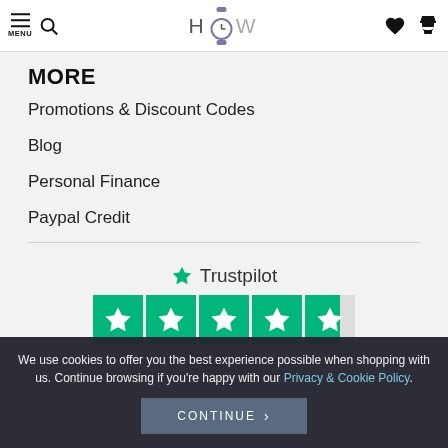MENU HOW [navigation icons]
MORE
Promotions & Discount Codes
Blog
Personal Finance
Paypal Credit
[Figure (logo): Trustpilot logo with 4.5 star rating display, green stars, TrustScore 4.7]
We use cookies to offer you the best experience possible when shopping with us. Continue browsing if you're happy with our Privacy & Cookie Policy.
CONTINUE >